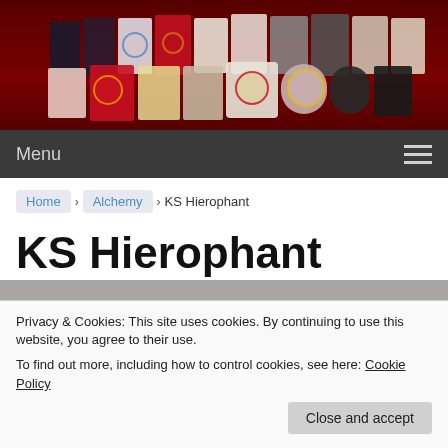[Figure (photo): Banner image showing multiple tarot/oracle card decks and boxes arranged on a dark red background]
Menu
Home › Alchemy › KS Hierophant
KS Hierophant
Posted on January 19, 2021 by Admin — No Comments ↓
Privacy & Cookies: This site uses cookies. By continuing to use this website, you agree to their use.
To find out more, including how to control cookies, see here: Cookie Policy
Close and accept